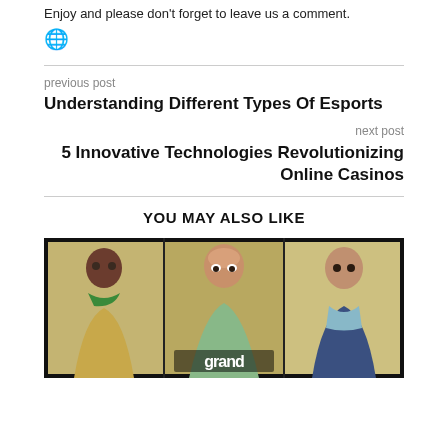Enjoy and please don't forget to leave us a comment.
[Figure (illustration): Globe/world icon emoji]
previous post
Understanding Different Types Of Esports
next post
5 Innovative Technologies Revolutionizing Online Casinos
YOU MAY ALSO LIKE
[Figure (photo): GTA V style promotional image showing three characters (Franklin, Trevor, Michael) side by side in a dark-bordered panel with 'grand' text at the bottom]